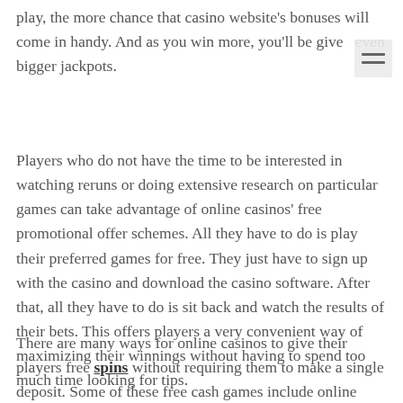play, the more chance that casino website's bonuses will come in handy. And as you win more, you'll be given even bigger jackpots.
Players who do not have the time to be interested in watching reruns or doing extensive research on particular games can take advantage of online casinos' free promotional offer schemes. All they have to do is play their preferred games for free. They just have to sign up with the casino and download the casino software. After that, all they have to do is sit back and watch the results of their bets. This offers players a very convenient way of maximizing their winnings without having to spend too much time looking for tips.
There are many ways for online casinos to give their players free spins without requiring them to make a single deposit. Some of these free cash games include online casino promotions that feature no deposit